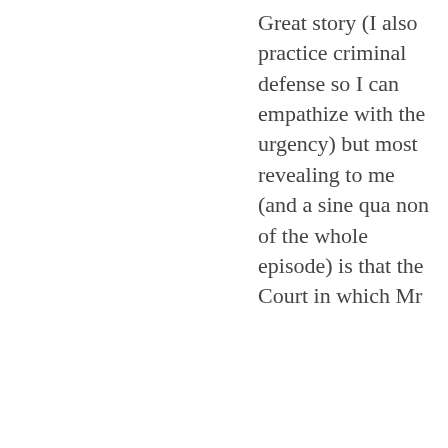Great story (I also practice criminal defense so I can empathize with the urgency) but most revealing to me (and a sine qua non of the whole episode) is that the Court in which Mr